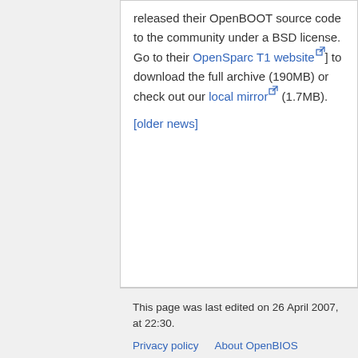released their OpenBOOT source code to the community under a BSD license. Go to their OpenSparc T1 website [external link] to download the full archive (190MB) or check out our local mirror [external link] (1.7MB). [older news]
This page was last edited on 26 April 2007, at 22:30.
Privacy policy   About OpenBIOS